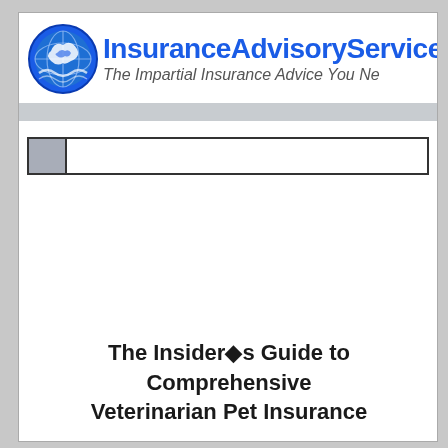[Figure (logo): InsuranceAdvisoryService.com logo with circular globe/eagle graphic and blue text site name and italic tagline 'The Impartial Insurance Advice You Need']
The Insider�s Guide to Comprehensive Veterinarian Pet Insurance